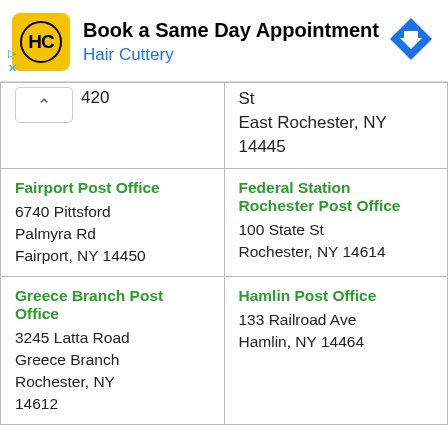[Figure (other): Hair Cuttery advertisement banner: yellow square logo with HC, text 'Book a Same Day Appointment', 'Hair Cuttery' in blue, blue diamond arrow icon on right, small ad icons bottom left]
| 420
East Rochester, NY 14445 (partial/cut off) | St
East Rochester, NY
14445 |
| Fairport Post Office
6740 Pittsford Palmyra Rd
Fairport, NY 14450 | Federal Station Rochester Post Office
100 State St
Rochester, NY 14614 |
| Greece Branch Post Office
3245 Latta Road
Greece Branch
Rochester, NY
14612 (partial) | Hamlin Post Office
133 Railroad Ave
Hamlin, NY 14464 |